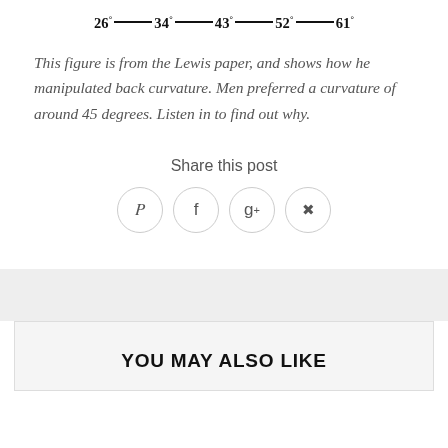[Figure (other): Degree scale showing values 26°, 34°, 43°, 52°, 61° connected by dash lines]
This figure is from the Lewis paper, and shows how he manipulated back curvature. Men preferred a curvature of around 45 degrees. Listen in to find out why.
Share this post
[Figure (other): Social media share icons: Twitter (y), Facebook (f), Google+ (g+), Pinterest]
YOU MAY ALSO LIKE